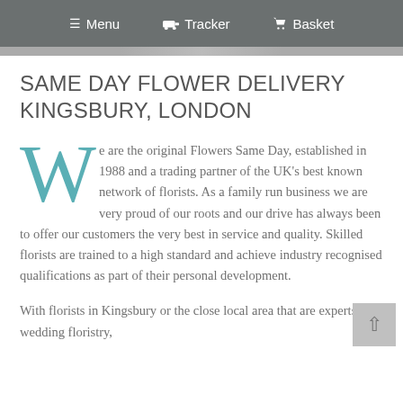☰ Menu   🚚 Tracker   🛒 Basket
SAME DAY FLOWER DELIVERY KINGSBURY, LONDON
We are the original Flowers Same Day, established in 1988 and a trading partner of the UK's best known network of florists. As a family run business we are very proud of our roots and our drive has always been to offer our customers the very best in service and quality. Skilled florists are trained to a high standard and achieve industry recognised qualifications as part of their personal development.
With florists in Kingsbury or the close local area that are experts in wedding floristry,